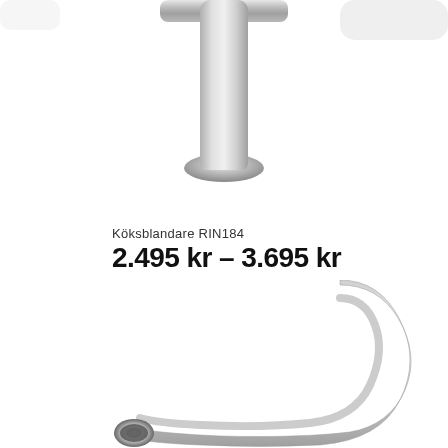[Figure (photo): Top portion of a chrome kitchen faucet (Köksblandare RIN184) showing the spout and handle from above, against a white background]
Köksblandare RIN184
2.495 kr - 3.695 kr
SELECT OPTIONS
[Figure (photo): Bottom portion of a chrome kitchen faucet showing the curved spout (Köksblandare RIN184) against a white background]